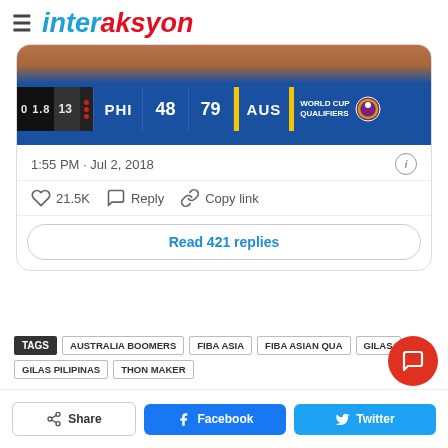interaksyon
[Figure (screenshot): Basketball scoreboard showing PHI 48 vs AUS 79, FIBA World Cup Qualifiers]
1:55 PM · Jul 2, 2018
21.5K  Reply  Copy link
Read 421 replies
TAGS  AUSTRALIA BOOMERS  FIBA ASIA  FIBA ASIAN QUA...  GILAS  GILAS PILIPINAS  THON MAKER
Share  Facebook  Twitter